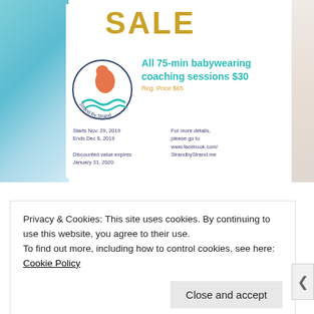[Figure (infographic): A promotional flyer for Strand By Strand babywearing coaching sale. Shows 'SALE' in large gold letters, a logo with a stylized parent and child in orange/teal, offer text '75-min babywearing coaching sessions $30 Reg. Price $65', sale dates Nov 29–Dec 8 2019, discounted value expires Jan 31 2020, and Facebook link. Background is blue/teal textured on left and light linen on right.]
Privacy & Cookies: This site uses cookies. By continuing to use this website, you agree to their use.
To find out more, including how to control cookies, see here: Cookie Policy
Close and accept